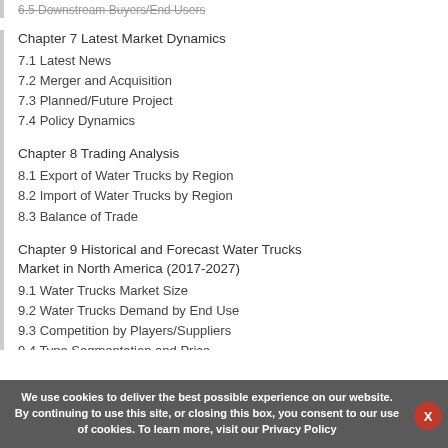6.5 Downstream Buyers/End Users
Chapter 7 Latest Market Dynamics
7.1 Latest News
7.2 Merger and Acquisition
7.3 Planned/Future Project
7.4 Policy Dynamics
Chapter 8 Trading Analysis
8.1 Export of Water Trucks by Region
8.2 Import of Water Trucks by Region
8.3 Balance of Trade
Chapter 9 Historical and Forecast Water Trucks Market in North America (2017-2027)
9.1 Water Trucks Market Size
9.2 Water Trucks Demand by End Use
9.3 Competition by Players/Suppliers
9.4 Type Segmentation and Price
9.5 Key Countries Analysis
We use cookies to deliver the best possible experience on our website. By continuing to use this site, or closing this box, you consent to our use of cookies. To learn more, visit our Privacy Policy